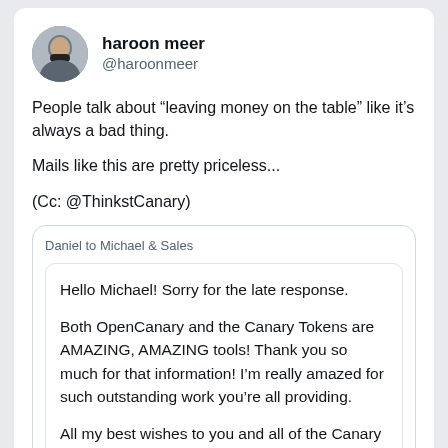[Figure (photo): Profile photo of haroon meer, a person wearing a black mask]
haroon meer
@haroonmeer
People talk about “leaving money on the table” like it’s always a bad thing.

Mails like this are pretty priceless...

(Cc: @ThinkstCanary)
Daniel to Michael & Sales
Hello Michael! Sorry for the late response.

Both OpenCanary and the Canary Tokens are AMAZING, AMAZING tools! Thank you so much for that information! I’m really amazed for such outstanding work you’re all providing.

All my best wishes to you and all of the Canary team, and your loved ones! You all deserve the